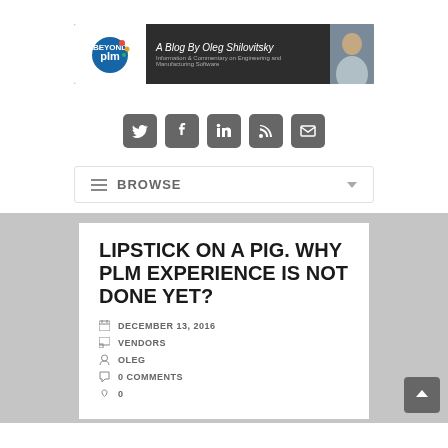[Figure (logo): Beyond PLM blog banner with logo, title 'A Blog By Oleg Shilovitsky', subtitle 'Information & Commentary on Engineering and Manufacturing Software', and photo of the author]
[Figure (infographic): Row of five dark grey social media icon buttons: Twitter, Facebook, LinkedIn, RSS, Email]
≡ BROWSE
LIPSTICK ON A PIG. WHY PLM EXPERIENCE IS NOT DONE YET?
DECEMBER 13, 2016
VENDORS
OLEG
0 COMMENTS
0